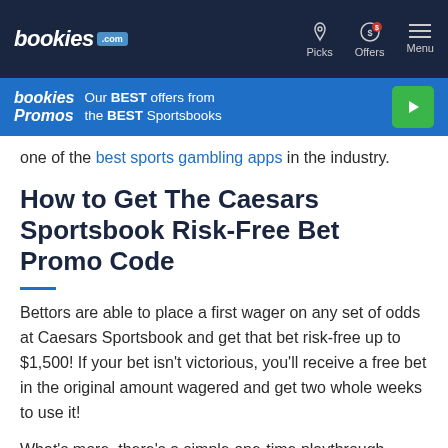bookies .com | Picks | Offers | Menu
[Figure (screenshot): Bookies Promos banner with text: Our BEST offers from the BEST Sportsbooks and a green play button]
one of the best sports gambling apps in the industry.
How to Get The Caesars Sportsbook Risk-Free Bet Promo Code
Bettors are able to place a first wager on any set of odds at Caesars Sportsbook and get that bet risk-free up to $1,500! If your bet isn't victorious, you'll receive a free bet in the original amount wagered and get two whole weeks to use it!
What's more, there's a simple one-time playthrough requirement with that free bet if you need to use it,